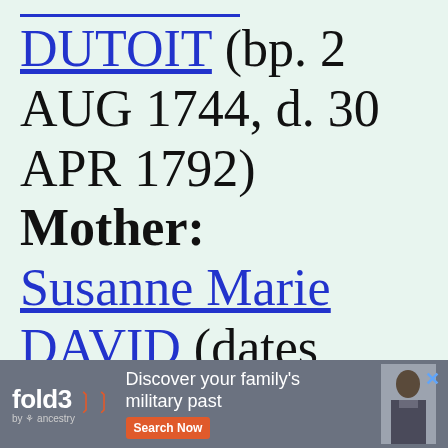DUTOIT (bp. 2 AUG 1744, d. 30 APR 1792) Mother: Susanne Marie DAVID (dates unknown)
[Figure (screenshot): Fold3 by Ancestry advertisement banner: 'Discover your family's military past' with Search Now button and a Civil War soldier photo]